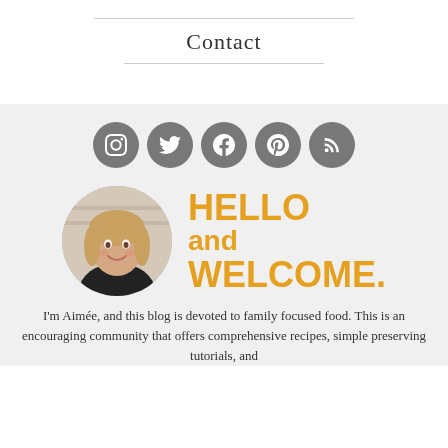Contact
[Figure (infographic): Five grey circular social media icons: Instagram, Twitter, Facebook, Pinterest, RSS]
[Figure (photo): Circular profile photo of a smiling woman with blonde hair wearing a black top]
HELLO and WELCOME.
I'm Aimée, and this blog is devoted to family focused food. This is an encouraging community that offers comprehensive recipes, simple preserving tutorials, and